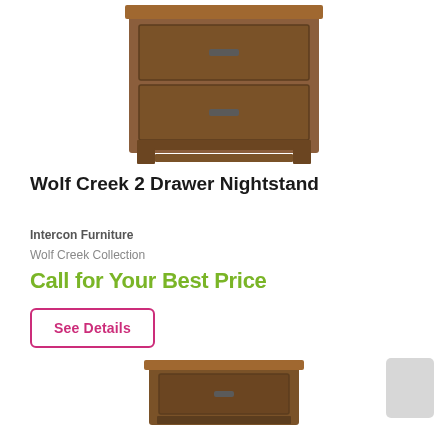[Figure (photo): Wolf Creek 2 Drawer Nightstand product photo — wooden two-drawer nightstand with metal hardware, rustic brown finish, shown from front angle on white background]
Wolf Creek 2 Drawer Nightstand
Intercon Furniture
Wolf Creek Collection
Call for Your Best Price
See Details
[Figure (photo): Partial view of another Wolf Creek nightstand product photo at the bottom of the page]